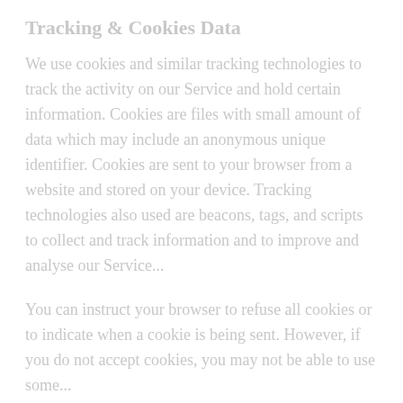Tracking & Cookies Data
We use cookies and similar tracking technologies to track the activity on our Service and hold certain information. Cookies are files with small amount of data which may include an anonymous unique identifier. Cookies are sent to your browser from a website and stored on your device. Tracking technologies also used are beacons, tags, and scripts to collect and track information and to improve and analyse our Service.
You can instruct your browser to refuse all cookies or to indicate when a cookie is being sent. However, if you do not accept cookies, you may not be able to use some...